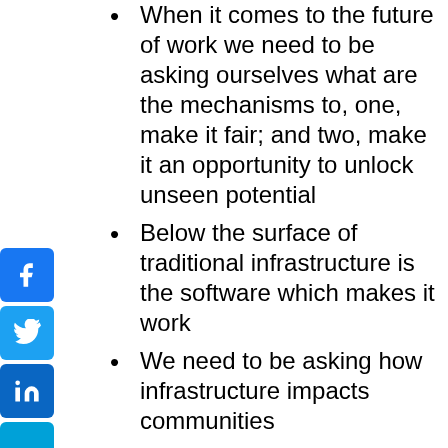When it comes to the future of work we need to be asking ourselves what are the mechanisms to, one, make it fair; and two, make it an opportunity to unlock unseen potential
Below the surface of traditional infrastructure is the software which makes it work
We need to be asking how infrastructure impacts communities
Infrastructure isn't just one piece – it has many aspects, which are affected by time
Not all startups are the same. Some are looking to provide a